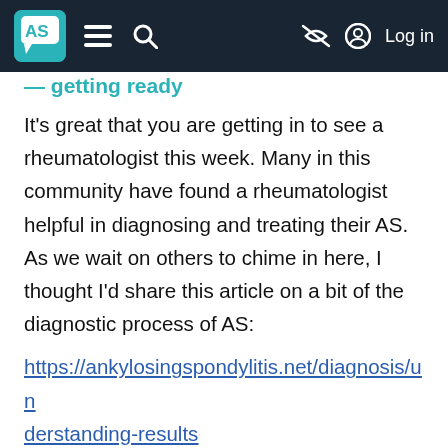AS [logo] ≡ 🔍 [notification off] Log in
It's great that you are getting in to see a rheumatologist this week. Many in this community have found a rheumatologist helpful in diagnosing and treating their AS. As we wait on others to chime in here, I thought I'd share this article on a bit of the diagnostic process of AS:
https://ankylosingspondylitis.net/diagnosis/understanding-results
Please keep us updated on how things go with your visit this week.
All my best, Doreen (Team Member)